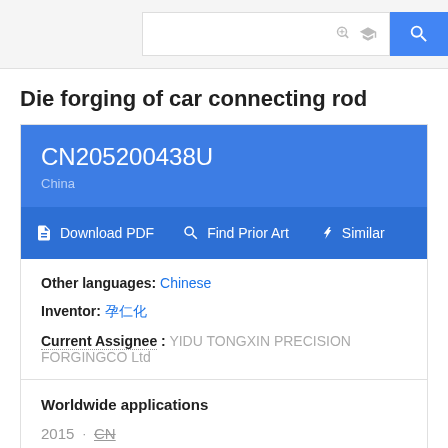Search bar with icons and search button
Die forging of car connecting rod
CN205200438U China
Download PDF  Find Prior Art  Similar
Other languages: Chinese
Inventor: 刘仁化
Current Assignee : YIDU TONGXIN PRECISION FORGINGCO Ltd
Worldwide applications
2015 · CN